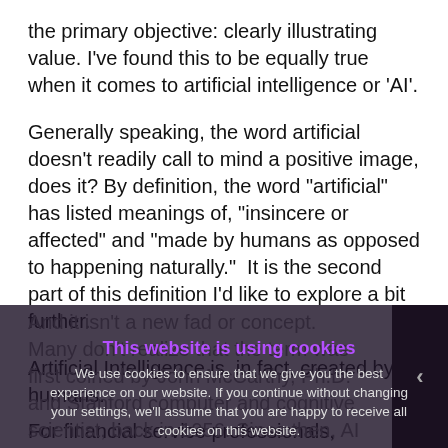the primary objective: clearly illustrating value. I've found this to be equally true when it comes to artificial intelligence or 'AI'.
Generally speaking, the word artificial doesn't readily call to mind a positive image, does it? By definition, the word “artificial” has listed meanings of, “insincere or affected” and “made by humans as opposed to happening naturally.”  It is the second part of this definition I’d like to explore a bit further.
Artificial Intelligence is, in fact, created by humans. And it isn’t a new fad or concept. Many don’t realize that the term was first coined by John McCarthy, Ph.D. and Stanford computer and cognitive scientist, back in 1956. Since then, AI has been widely used in many indus
For financial service professionals, particularly those of us involved with fighting financial crime and
This website is using cookies
We use cookies to ensure that we give you the best experience on our website. If you continue without changing your settings, we’ll assume that you are happy to receive all cookies on this website.
Accept   Learn More